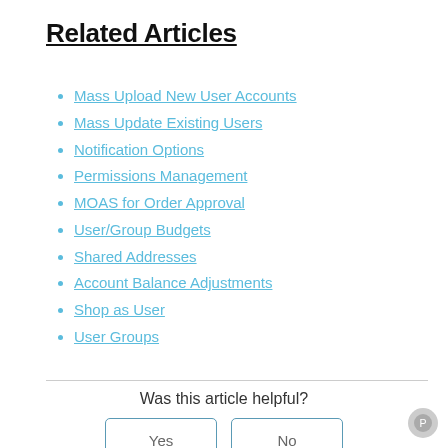Related Articles
Mass Upload New User Accounts
Mass Update Existing Users
Notification Options
Permissions Management
MOAS for Order Approval
User/Group Budgets
Shared Addresses
Account Balance Adjustments
Shop as User
User Groups
Was this article helpful?